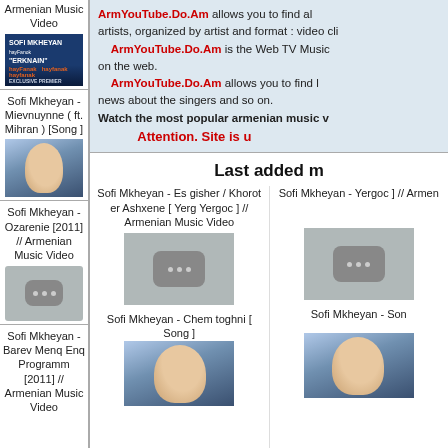[Figure (screenshot): Concert thumbnail - Sofi Mkheyan ERKNAIN music video]
Armenian Music Video
Sofi Mkheyan - Mievnuynne ( ft. Mihran ) [Song ]
[Figure (photo): Sofi Mkheyan portrait photo with white hat]
Sofi Mkheyan - Ozarenie [2011] // Armenian Music Video
[Figure (screenshot): YouTube placeholder thumbnail]
Sofi Mkheyan - Barev Menq Enq Programm [2011] // Armenian Music Video
ArmYouTube.Do.Am allows you to find all armenian artists, organized by artist and format : video clips ...
ArmYouTube.Do.Am is the Web TV Music ... on the web.
ArmYouTube.Do.Am allows you to find latest news about the singers and so on.
Watch the most popular armenian music v...
Attention. Site is u...
Last added m...
Sofi Mkheyan - Es gisher / Khorot er Ashxene [ Yerg Yergoc ] // Armenian Music Video
[Figure (screenshot): YouTube placeholder thumbnail large]
Sofi Mkheyan - Chem toghni [ Song ]
[Figure (photo): Sofi Mkheyan portrait photo]
Sofi Mkheyan - ... Yergoc ] // Armen...
[Figure (screenshot): YouTube placeholder thumbnail]
Sofi Mkheyan - ... Son...
[Figure (photo): Sofi Mkheyan portrait photo]